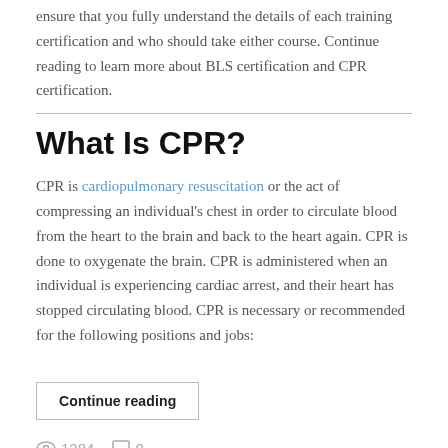ensure that you fully understand the details of each training certification and who should take either course. Continue reading to learn more about BLS certification and CPR certification.
What Is CPR?
CPR is cardiopulmonary resuscitation or the act of compressing an individual's chest in order to circulate blood from the heart to the brain and back to the heart again. CPR is done to oxygenate the brain. CPR is administered when an individual is experiencing cardiac arrest, and their heart has stopped circulating blood. CPR is necessary or recommended for the following positions and jobs:
Continue reading
1284   0